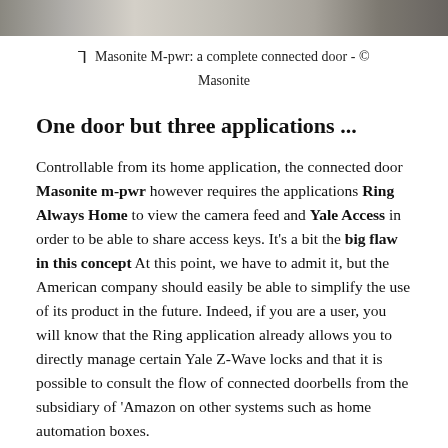[Figure (photo): Top portion of a photo showing Masonite M-pwr connected door in a home entryway setting]
Masonite M-pwr: a complete connected door - © Masonite
One door but three applications ...
Controllable from its home application, the connected door Masonite m-pwr however requires the applications Ring Always Home to view the camera feed and Yale Access in order to be able to share access keys. It's a bit the big flaw in this concept At this point, we have to admit it, but the American company should easily be able to simplify the use of its product in the future. Indeed, if you are a user, you will know that the Ring application already allows you to directly manage certain Yale Z-Wave locks and that it is possible to consult the flow of connected doorbells from the subsidiary of 'Amazon on other systems such as home automation boxes.